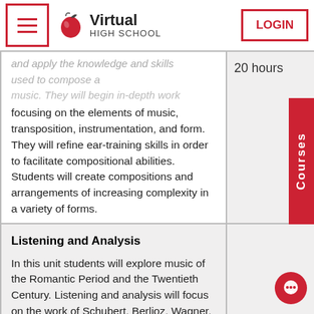Virtual High School — navigation bar with hamburger menu and LOGIN button
| Course Description | Duration |
| --- | --- |
| (partial) ...and apply the knowledge and skills used to compose and arrange music. They will begin in-depth work focusing on the elements of music, transposition, instrumentation, and form. They will refine ear-training skills in order to facilitate compositional abilities. Students will create compositions and arrangements of increasing complexity in a variety of forms. | 20 hours |
| Listening and Analysis

In this unit students will explore music of the Romantic Period and the Twentieth Century. Listening and analysis will focus on the work of Schubert, Berlioz, Wagner, Debussy, Schoenberg, and Stravinsky. The |  |